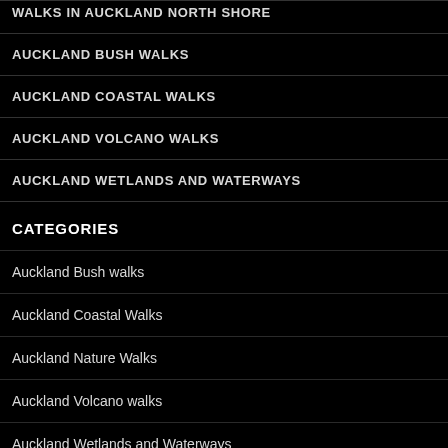WALKS IN AUCKLAND NORTH SHORE
AUCKLAND BUSH WALKS
AUCKLAND COASTAL WALKS
AUCKLAND VOLCANO WALKS
AUCKLAND WETLANDS AND WATERWAYS
CATEGORIES
Auckland Bush walks
Auckland Coastal Walks
Auckland Nature Walks
Auckland Volcano walks
Auckland Wetlands and Waterways